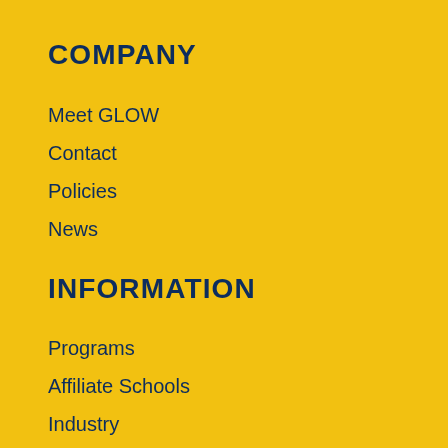COMPANY
Meet GLOW
Contact
Policies
News
INFORMATION
Programs
Affiliate Schools
Industry
KPI
JOIN US